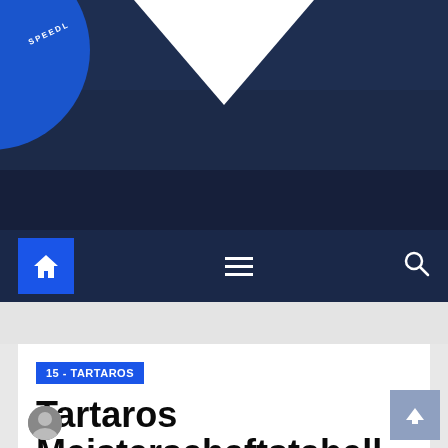[Figure (photo): Website header image showing a dark navy blue background with a white V-shaped chevron/logo at the top center and a partial blue circular logo/badge on the left side. The image appears to be a sports or club website header.]
Navigation bar with home icon, hamburger menu, and search icon on dark navy background
15 - TARTAROS
Tartaros Meisterschaftstabelle